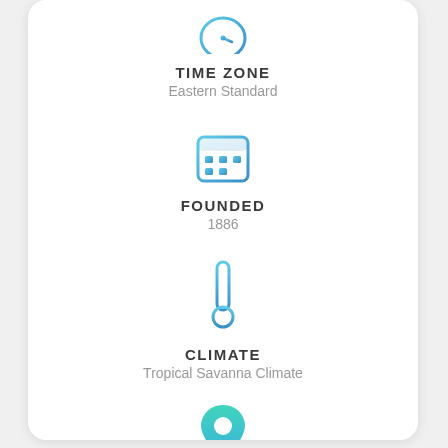[Figure (infographic): Clock/time zone icon (teal/blue gradient)]
TIME ZONE
Eastern Standard
[Figure (infographic): Calendar icon (teal/blue gradient)]
FOUNDED
1886
[Figure (infographic): Thermometer icon (teal/blue gradient)]
CLIMATE
Tropical Savanna Climate
[Figure (infographic): Location pin icon (teal/blue gradient)]
NICKNAME
Neapolitan